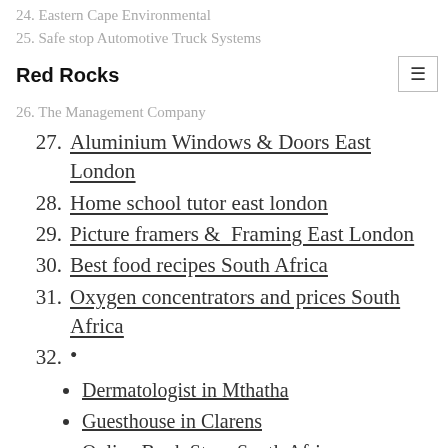Red Rocks
24. Eastern Cape Environmental
25. Safe stop Automotive Truck Systems
26. The Management Company
27. Aluminium Windows & Doors East London
28. Home school tutor east london
29. Picture framers & Framing East London
30. Best food recipes South Africa
31. Oxygen concentrators and prices South Africa
32.
Dermatologist in Mthatha
Guesthouse in Clarens
Online Book Store South Africa